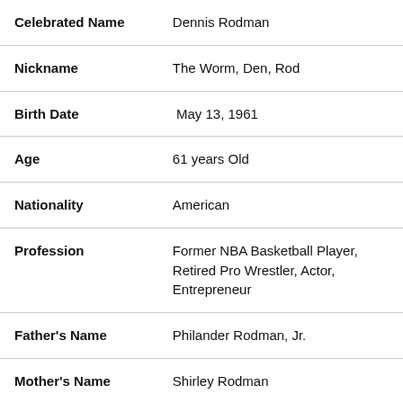| Field | Value |
| --- | --- |
| Celebrated Name | Dennis Rodman |
| Nickname | The Worm, Den, Rod |
| Birth Date | May 13, 1961 |
| Age | 61 years Old |
| Nationality | American |
| Profession | Former NBA Basketball Player, Retired Pro Wrestler, Actor, Entrepreneur |
| Father's Name | Philander Rodman, Jr. |
| Mother's Name | Shirley Rodman |